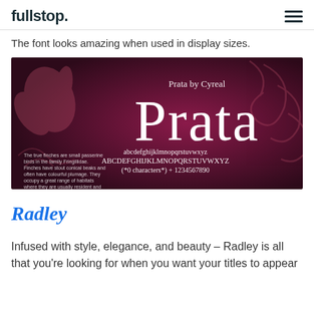fullstop.
The font looks amazing when used in display sizes.
[Figure (illustration): Promotional image for Prata font by Cyreal on a dark crimson/maroon background with decorative floral swirls. Large white serif text reads 'Prata'. Subtitle reads 'Prata by Cyreal'. Below: lowercase and uppercase alphabet and numbers in the font. Left side shows a small paragraph text sample about finches.]
Radley
Infused with style, elegance, and beauty – Radley is all that you're looking for when you want your titles to appear